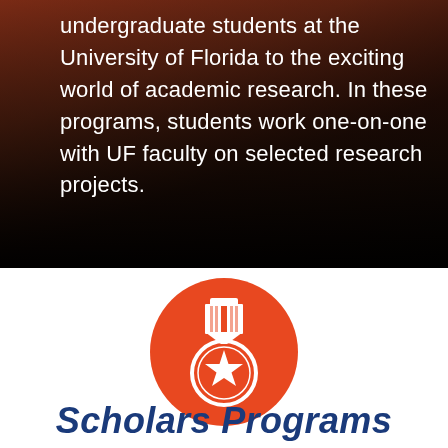undergraduate students at the University of Florida to the exciting world of academic research. In these programs, students work one-on-one with UF faculty on selected research projects.
[Figure (illustration): Orange circular medal/scholarship icon with a ribbon at top and a star in the center circle, white icon on orange background]
Scholars Programs